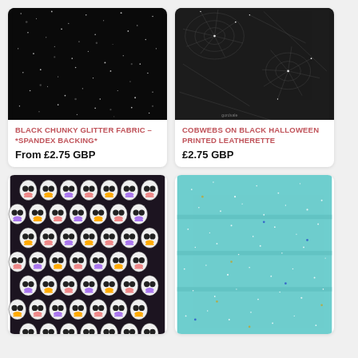[Figure (photo): Black chunky glitter fabric close-up]
BLACK CHUNKY GLITTER FABRIC – *SPANDEX BACKING*
From £2.75 GBP
[Figure (photo): Cobwebs on black Halloween printed leatherette]
COBWEBS ON BLACK HALLOWEEN PRINTED LEATHERETTE
£2.75 GBP
[Figure (photo): Sugar skulls pattern fabric on black background]
[Figure (photo): Teal chunky glitter fabric sheets stacked]